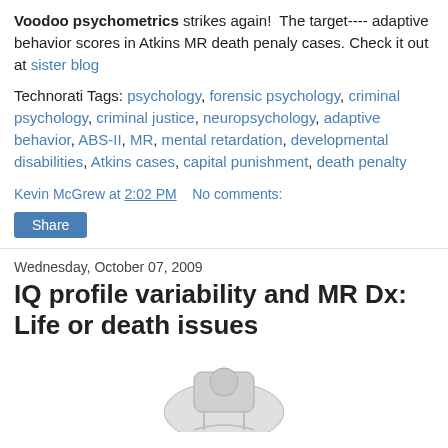Voodoo psychometrics strikes again!  The target---- adaptive behavior scores in Atkins MR death penaly cases. Check it out at sister blog
Technorati Tags: psychology, forensic psychology, criminal psychology, criminal justice, neuropsychology, adaptive behavior, ABS-II, MR, mental retardation, developmental disabilities, Atkins cases, capital punishment, death penalty
Kevin McGrew at 2:02 PM   No comments:
Share
Wednesday, October 07, 2009
IQ profile variability and MR Dx: Life or death issues
[Figure (illustration): Partial image of an illustration or photo, cropped at the bottom of the page]